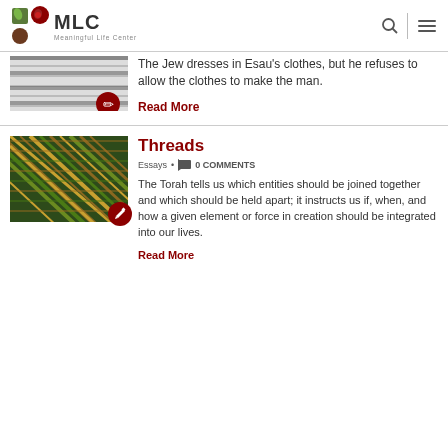MLC Meaningful Life Center
The Jew dresses in Esau's clothes, but he refuses to allow the clothes to make the man.
Read More
Threads
Essays • 0 COMMENTS
The Torah tells us which entities should be joined together and which should be held apart; it instructs us if, when, and how a given element or force in creation should be integrated into our lives.
Read More